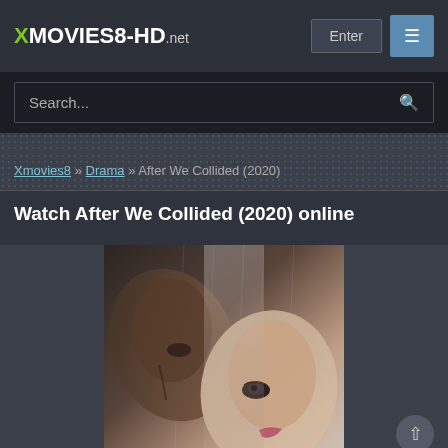XMOVIES8-HD.net
Search...
Xmovies8 » Drama » After We Collided (2020)
Watch After We Collided (2020) online
[Figure (photo): Movie poster for After We Collided (2020) showing two faces close together in the rain]